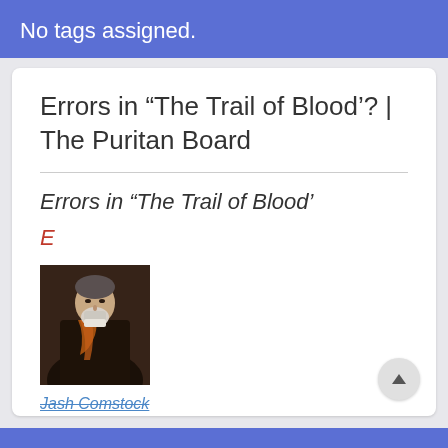No tags assigned.
Errors in “The Trail of Blood’? | The Puritan Board
Errors in “The Trail of Blood’
E
[Figure (photo): Portrait painting of a man in dark robes with a red/orange sash, white beard]
Jash Comstock
Puritan Board Freshman